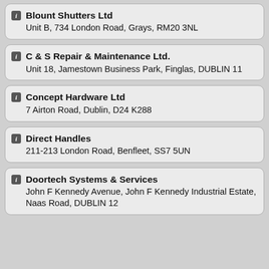Blount Shutters Ltd
Unit B, 734 London Road, Grays, RM20 3NL
C & S Repair & Maintenance Ltd.
Unit 18, Jamestown Business Park, Finglas, DUBLIN 11
Concept Hardware Ltd
7 Airton Road, Dublin, D24 K288
Direct Handles
211-213 London Road, Benfleet, SS7 5UN
Doortech Systems & Services
John F Kennedy Avenue, John F Kennedy Industrial Estate, Naas Road, DUBLIN 12